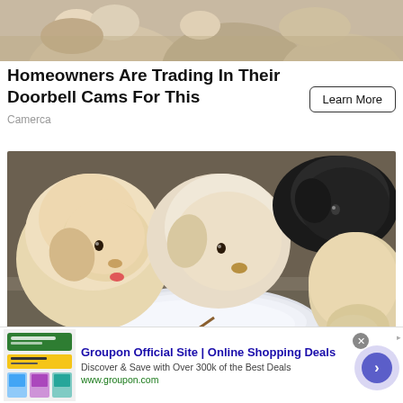[Figure (photo): Partial top portion of a photo showing what appears to be hands or feet on a sandy/stone surface, cropped at top of page]
Homeowners Are Trading In Their Doorbell Cams For This
Camerca
[Figure (photo): Four puppies eating from a white plate on the ground. Two golden/white fluffy puppies and one black puppy are visible, sharing food from a white dish on pavement.]
[Figure (screenshot): Groupon advertisement banner showing: Groupon Official Site | Online Shopping Deals. Discover & Save with Over 300k of the Best Deals. www.groupon.com]